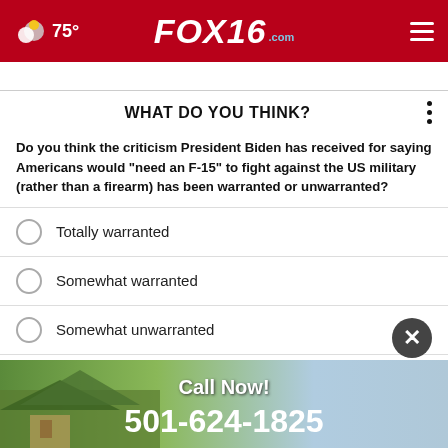75° FOX16.com
WHAT DO YOU THINK?
Do you think the criticism President Biden has received for saying Americans would "need an F-15" to fight against the US military (rather than a firearm) has been warranted or unwarranted?
Totally warranted
Somewhat warranted
Somewhat unwarranted
Totally unwarranted
Other / No opinion
[Figure (photo): Advertisement banner showing a house photo with text 'Call Now! 501-624-1825']